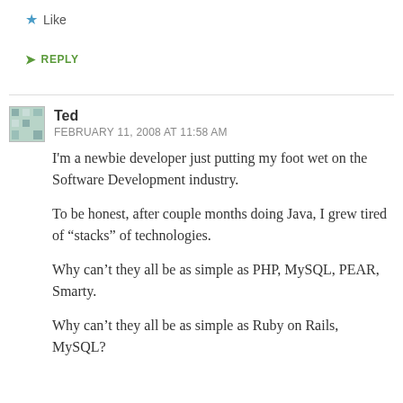Like
REPLY
Ted
FEBRUARY 11, 2008 AT 11:58 AM
I'm a newbie developer just putting my foot wet on the Software Development industry.
To be honest, after couple months doing Java, I grew tired of “stacks” of technologies.
Why can’t they all be as simple as PHP, MySQL, PEAR, Smarty.
Why can’t they all be as simple as Ruby on Rails, MySQL?